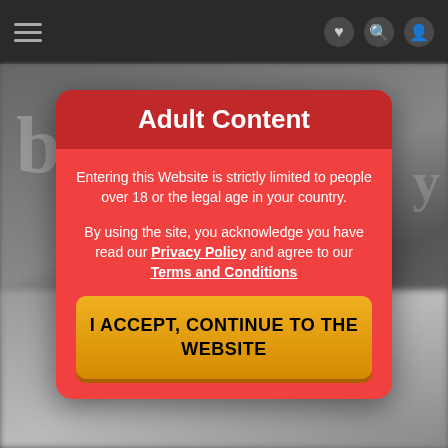[Figure (screenshot): Dark navigation bar with hamburger menu icon on left and icons on right]
Adult Content
Entering this Website is strictly limited to people over 18 or the legal age in your country.
By using the site, you acknowledge you have read our Privacy Policy and agree to our Terms and Conditions
I ACCEPT, CONTINUE TO THE WEBSITE